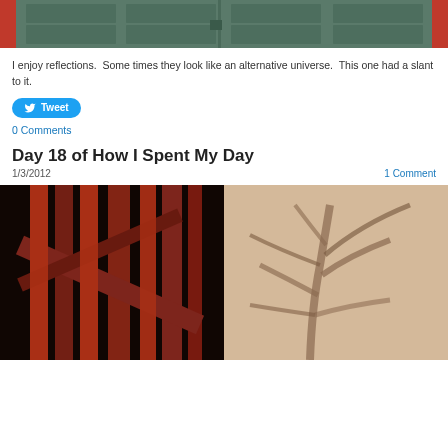[Figure (photo): Top portion of a photo showing green/teal double doors with red brick border — reflection scene]
I enjoy reflections.  Some times they look like an alternative universe.  This one had a slant to it.
[Figure (other): Tweet button with Twitter bird icon]
0 Comments
Day 18 of How I Spent My Day
1/3/2012
1 Comment
[Figure (photo): Photo split in two: left side shows red metal gate/bars, right side shows shadows of branches on a beige/cream textured stucco wall]